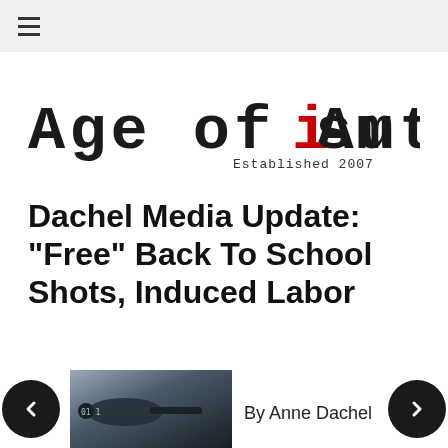≡
[Figure (logo): Age of Autism logo in typewriter font with red 'i', tagline 'Established 2007']
Dachel Media Update: "Free" Back To School Shots, Induced Labor
[Figure (photo): Close-up photo of a syringe/injection needle]
By Anne Dachel